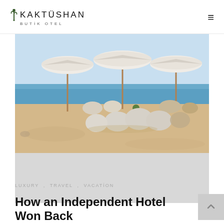KAKTÜSHAN BUTIK OTEL
[Figure (photo): Beach scene with white umbrellas and bean bag chairs on sandy beach with blue sea and sky in background. Lower portion fades to gray.]
LUXURY , TRAVEL , VACATİON
How an Independent Hotel Won Back